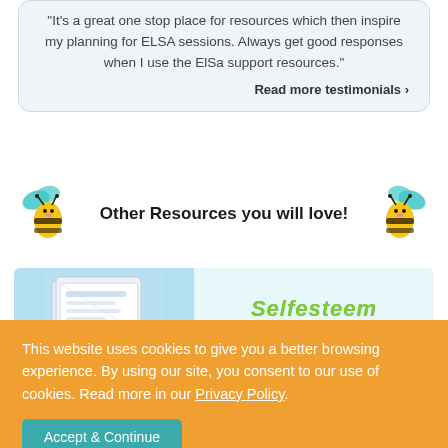"It's a great one stop place for resources which then inspire my planning for ELSA sessions. Always get good responses when I use the ElSa support resources."
Read more testimonials ›
[Figure (illustration): Two cartoon bees flanking bold text 'Other Resources you will love!']
[Figure (illustration): Preview image of a resource card with 'Selfesteem' text in green italic font on a light blue background]
This website uses cookies to give you a better browsing experience. By using our site, you consent to our use of cookies. Read more in our Privacy Policy.
Accept & Continue